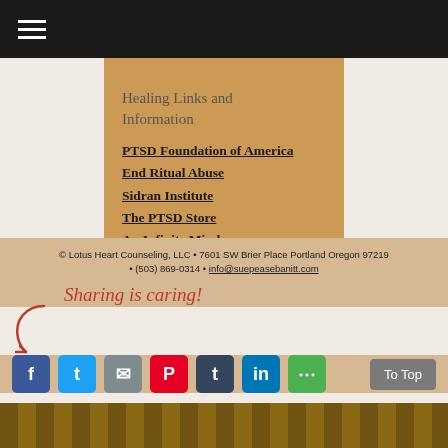≡
Healing Links and Information
PTSD Foundation of America
End Ritual Abuse
Sidran Institute
The PTSD Store
An Infinite Mind
Heal My PTSD
Street Yoga
© Lotus Heart Counseling, LLC • 7601 SW Brier Place Portland Oregon 97219 • (503) 869-0314 • info@suepeasebanitt.com
Sharing is caring!